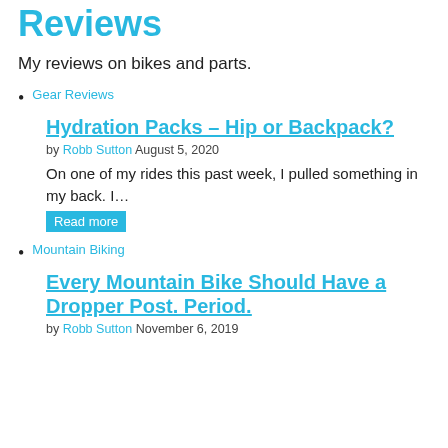Reviews
My reviews on bikes and parts.
Gear Reviews
Hydration Packs – Hip or Backpack?
by Robb Sutton August 5, 2020
On one of my rides this past week, I pulled something in my back. I…
Read more
Mountain Biking
Every Mountain Bike Should Have a Dropper Post. Period.
by Robb Sutton November 6, 2019